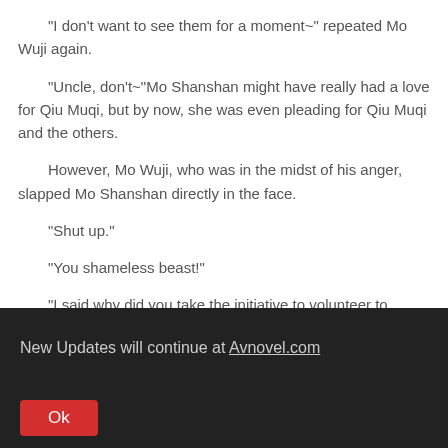“I don’t want to see them for a moment~” repeated Mo Wuji again.
“Uncle, don’t~”Mo Shanshan might have really had a love for Qiu Muqi, but by now, she was even pleading for Qiu Muqi and the others.
However, Mo Wuji, who was in the midst of his anger, slapped Mo Shanshan directly in the face.
“Shut up.”
“You shameless beast!”
“I said why did you take the initiative to volunteer to
New Updates will continue at Avnovel.com
Ok